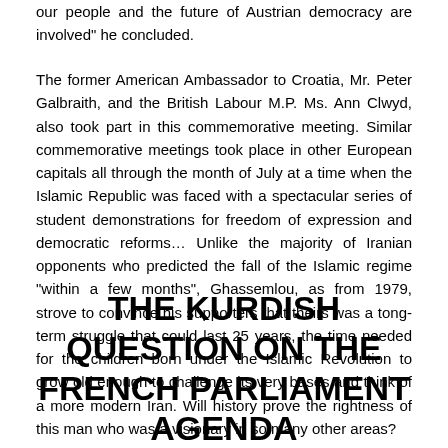our people and the future of Austrian democracy are involved" he concluded.
The former American Ambassador to Croatia, Mr. Peter Galbraith, and the British Labour M.P. Ms. Ann Clwyd, also took part in this commemorative meeting. Similar commemorative meetings took place in other European capitals all through the month of July at a time when the Islamic Republic was faced with a spectacular series of student demonstrations for freedom of expression and democratic reforms… Unlike the majority of Iranian opponents who predicted the fall of the Islamic regime "within a few months", Ghassemlou, as from 1979, strove to convince his supporters that theirs was a tong-term struggle that could last 25 years, the time needed for the children born under the Islamic Revolution to grow old enough to challenge its very bases and think of a more modern Iran. Will history prove the rightness of this man who was a visionary in so many other areas?
THE KURDISH QUESTION ON THE FRENCH PARLIAMENT AGENDA